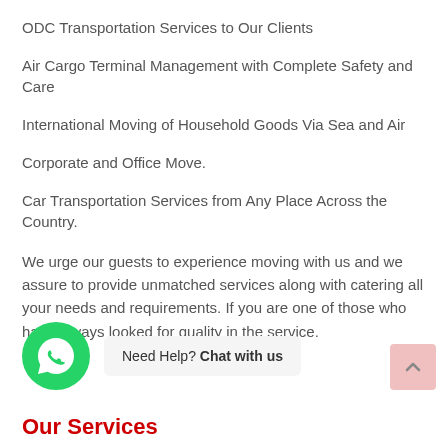ODC Transportation Services to Our Clients
Air Cargo Terminal Management with Complete Safety and Care
International Moving of Household Goods Via Sea and Air
Corporate and Office Move.
Car Transportation Services from Any Place Across the Country.
We urge our guests to experience moving with us and we assure to provide unmatched services along with catering all your needs and requirements. If you are one of those who have always looked for quality in the service.
Our Services